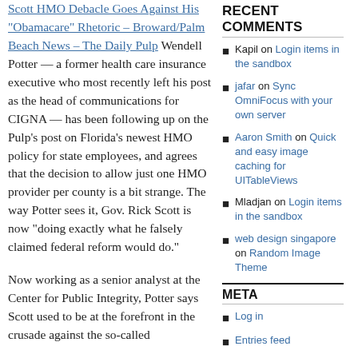Scott HMO Debacle Goes Against His "Obamacare" Rhetoric – Broward/Palm Beach News – The Daily Pulp Wendell Potter — a former health care insurance executive who most recently left his post as the head of communications for CIGNA — has been following up on the Pulp's post on Florida's newest HMO policy for state employees, and agrees that the decision to allow just one HMO provider per county is a bit strange. The way Potter sees it, Gov. Rick Scott is now "doing exactly what he falsely claimed federal reform would do."
Now working as a senior analyst at the Center for Public Integrity, Potter says Scott used to be at the forefront in the crusade against the so-called
RECENT COMMENTS
Kapil on Login items in the sandbox
jafar on Sync OmniFocus with your own server
Aaron Smith on Quick and easy image caching for UITableViews
Mladjan on Login items in the sandbox
web design singapore on Random Image Theme
META
Log in
Entries feed